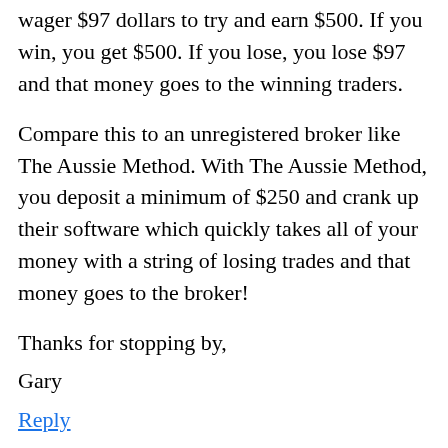wager $97 dollars to try and earn $500. If you win, you get $500. If you lose, you lose $97 and that money goes to the winning traders.
Compare this to an unregistered broker like The Aussie Method. With The Aussie Method, you deposit a minimum of $250 and crank up their software which quickly takes all of your money with a string of losing trades and that money goes to the broker!
Thanks for stopping by,
Gary
Reply
Ryan says: